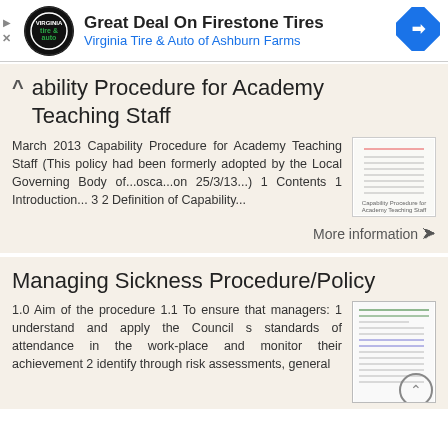[Figure (logo): Ad banner: Great Deal On Firestone Tires - Virginia Tire & Auto of Ashburn Farms]
Capability Procedure for Academy Teaching Staff
March 2013 Capability Procedure for Academy Teaching Staff (This policy had been formerly adopted by the Local Governing Body of...osca...on 25/3/13...) 1 Contents 1 Introduction... 3 2 Definition of Capability...
[Figure (screenshot): Thumbnail image of Capability Procedure for Academy Teaching Staff document]
More information →
Managing Sickness Procedure/Policy
1.0 Aim of the procedure 1.1 To ensure that managers: 1 understand and apply the Council s standards of attendance in the work-place and monitor their achievement 2 identify through risk assessments, general
[Figure (screenshot): Thumbnail image of Managing Sickness Procedure/Policy document]